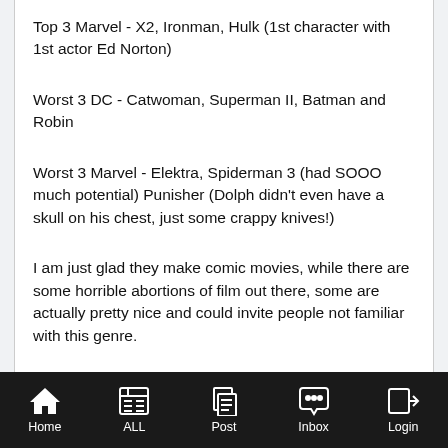Top 3 Marvel - X2, Ironman, Hulk (1st character with 1st actor Ed Norton)
Worst 3 DC - Catwoman, Superman II, Batman and Robin
Worst 3 Marvel - Elektra, Spiderman 3 (had SOOO much potential) Punisher (Dolph didn't even have a skull on his chest, just some crappy knives!)
I am just glad they make comic movies, while there are some horrible abortions of film out there, some are actually pretty nice and could invite people not familiar with this genre.
Home | ALL | Post | Inbox | Login